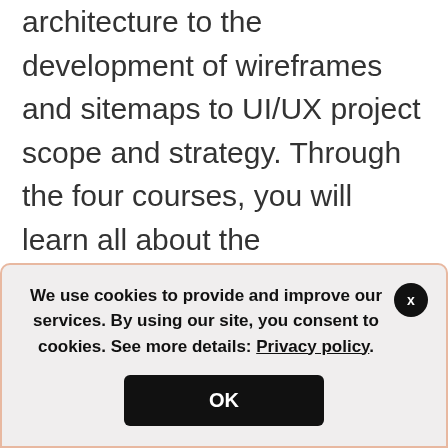architecture to the development of wireframes and sitemaps to UI/UX project scope and strategy. Through the four courses, you will learn all about the conventions of user experience and understand how to apply the best practices to create outstanding user experiences for applications and websites.

The knowledge and skills you will gain from the ...
We use cookies to provide and improve our services. By using our site, you consent to cookies. See more details: Privacy policy.